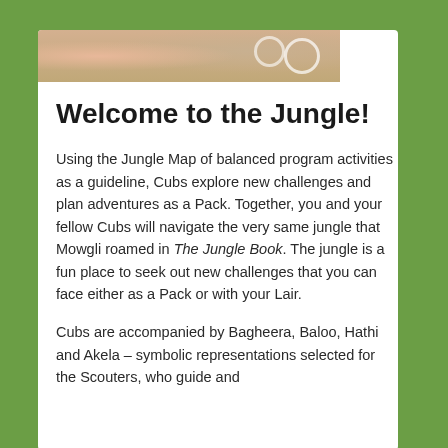[Figure (photo): Partial photo strip at top of white card showing colorful imagery related to Cubs/Jungle Book theme]
Welcome to the Jungle!
Using the Jungle Map of balanced program activities as a guideline, Cubs explore new challenges and plan adventures as a Pack. Together, you and your fellow Cubs will navigate the very same jungle that Mowgli roamed in The Jungle Book. The jungle is a fun place to seek out new challenges that you can face either as a Pack or with your Lair.
Cubs are accompanied by Bagheera, Baloo, Hathi and Akela – symbolic representations selected for the Scouters, who guide and